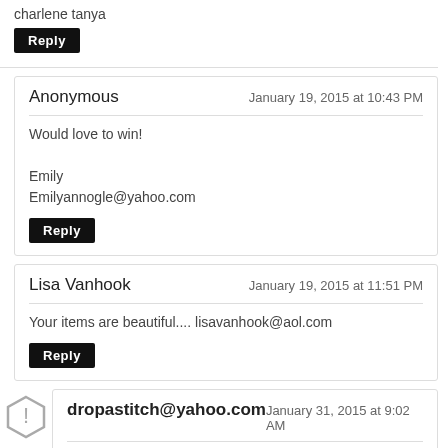charlene tanya
Reply
Anonymous — January 19, 2015 at 10:43 PM
Would love to win!

Emily
Emilyannogle@yahoo.com
Reply
Lisa Vanhook — January 19, 2015 at 11:51 PM
Your items are beautiful.... lisavanhook@aol.com
Reply
dropastitch@yahoo.com — January 31, 2015 at 9:02 AM
Love how versatile this jewelry is! very unique
Reply